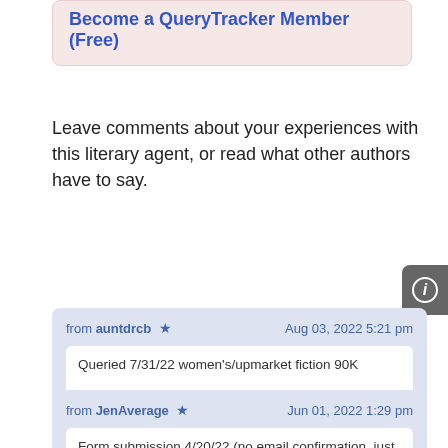Become a QueryTracker Member (Free)
Leave comments about your experiences with this literary agent, or read what other authors have to say.
from auntdrcb ★   Aug 03, 2022 5:21 pm
Queried 7/31/22 women's/upmarket fiction 90K
from JenAverage ★   Jun 01, 2022 1:29 pm
Form submission 4/20/22 (no email confirmation, just a